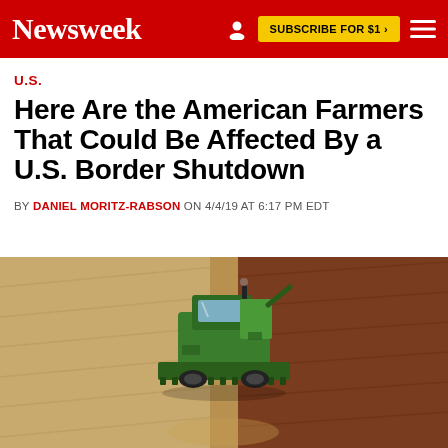Newsweek | SUBSCRIBE FOR $1 >
U.S.
Here Are the American Farmers That Could Be Affected By a U.S. Border Shutdown
BY DANIEL MORITZ-RABSON ON 4/4/19 AT 6:17 PM EDT
[Figure (photo): Aerial view of a green combine harvester working in a large agricultural field, with harvested (light tan) and unharvested (reddish-brown) sections of grain visible on either side of the machine.]